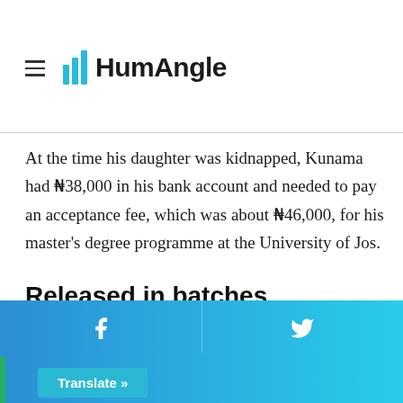HumAngle
At the time his daughter was kidnapped, Kunama had ₦38,000 in his bank account and needed to pay an acceptance fee, which was about ₦46,000, for his master's degree programme at the University of Jos.
Released in batches
Two months after the sad incident, Kunama and other parents gathered to receive the children they had prayed and wept for, day and night. But suddenly their expectation
apologised for not informing them that only 32 children were